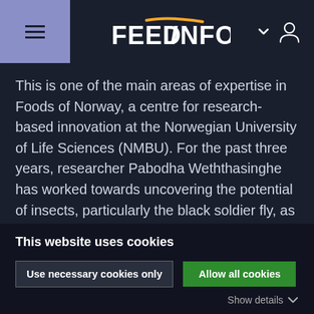FEEDINFO
This is one of the main areas of expertise in Foods of Norway, a centre for research-based innovation at the Norwegian University of Life Sciences (NMBU). For the past three years, researcher Pabodha Weththasinghe has worked towards uncovering the potential of insects, particularly the black soldier fly, as a
This website uses cookies
Use necessary cookies only | Allow all cookies
Show details